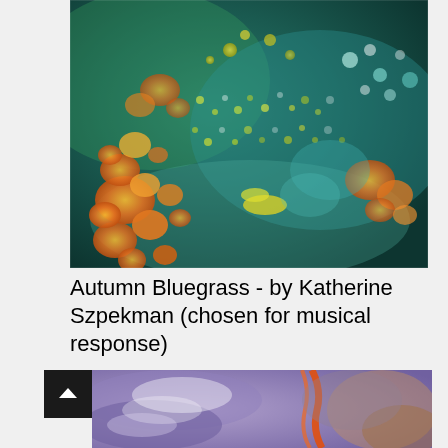[Figure (illustration): Abstract fluid pour painting titled 'Autumn Bluegrass' by Katherine Szpekman. Colorful acrylic pour with teal/green background filled with orange, yellow, white and teal bubble-like circular patterns and organic flowing shapes.]
Autumn Bluegrass - by Katherine Szpekman (chosen for musical response)
[Figure (illustration): Partial view of another abstract fluid pour painting with purple, orange, white, and brown swirling patterns.]